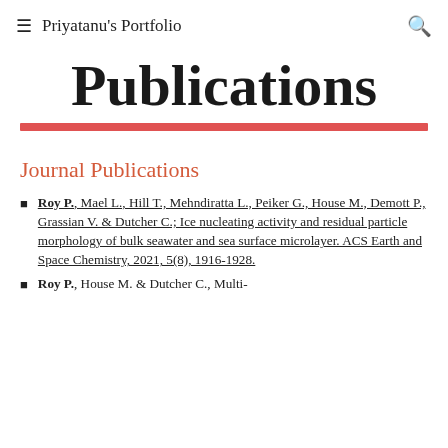≡ Priyatanu's Portfolio 🔍
Publications
Journal Publications
Roy P., Mael L., Hill T., Mehndiratta L., Peiker G., House M., Demott P., Grassian V. & Dutcher C.; Ice nucleating activity and residual particle morphology of bulk seawater and sea surface microlayer. ACS Earth and Space Chemistry, 2021, 5(8), 1916-1928.
Roy P., House M. & Dutcher C., Multi-...